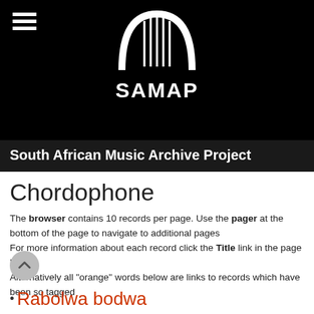[Figure (logo): SAMAP logo — white arch/harp instrument symbol on black background with text SAMAP below]
South African Music Archive Project
Chordophone
The browser contains 10 records per page. Use the pager at the bottom of the page to navigate to additional pages
For more information about each record click the Title link in the page below
Alternatively all "orange" words below are links to records which have been so tagged
• Rabolwa bodwa